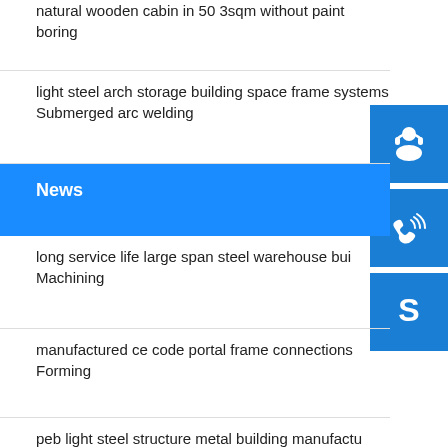natural wooden cabin in 50 3sqm without paint boring
light steel arch storage building space frame systems Submerged arc welding
News
long service life large span steel warehouse bui Machining
manufactured ce code portal frame connections Forming
peb light steel structure metal building manufactu Rolling
high corrosion smc bmc trench covers for hot salos
[Figure (illustration): Blue square icon with white customer service/headset person silhouette]
[Figure (illustration): Blue square icon with white telephone with wifi signal waves]
[Figure (illustration): Blue square icon with white Skype logo S]